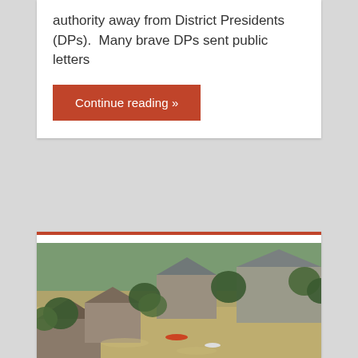authority away from District Presidents (DPs).  Many brave DPs sent public letters
Continue reading »
[Figure (photo): Aerial photograph of a flooded residential neighborhood with houses surrounded by brown floodwater, trees partially submerged, and boats navigating between homes.]
MILLIONS OF DISASTER RELIEF DOLLARS STILL IN ST. LOUIS?